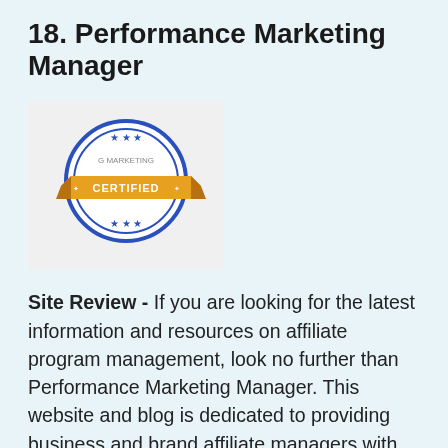18. Performance Marketing Manager
[Figure (logo): A certified badge/seal logo with a blue circular border and an orange ribbon banner across the center reading 'CERTIFIED', with small star decorations]
Site Review - If you are looking for the latest information and resources on affiliate program management, look no further than Performance Marketing Manager. This website and blog is dedicated to providing business and brand affiliate managers with the information, tools and resources they need to reach the engagement and ROI they've been